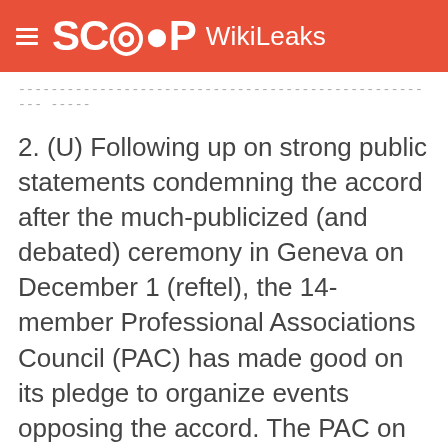SCOOP WikiLeaks
---------------------------------------------------------------------------------------------------------------
2. (U) Following up on strong public statements condemning the accord after the much-publicized (and debated) ceremony in Geneva on December 1 (reftel), the 14-member Professional Associations Council (PAC) has made good on its pledge to organize events opposing the accord. The PAC on December 14 sponsored a conference in al-Baq'aa refugee camp -- the